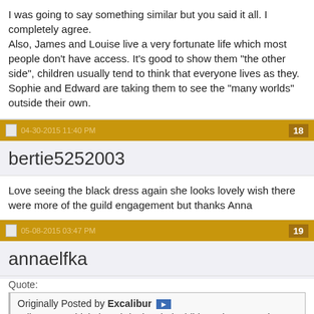I was going to say something similar but you said it all. I completely agree.
Also, James and Louise live a very fortunate life which most people don't have access. It's good to show them "the other side", children usually tend to think that everyone lives as they. Sophie and Edward are taking them to see the "many worlds" outside their own.
04-30-2015 11:40 PM | 18
bertie5252003
Love seeing the black dress again she looks lovely wish there were more of the guild engagement but thanks Anna
05-08-2015 03:47 PM | 19
annaelfka
Quote:
Originally Posted by Excalibur
I disagree. I think them bringing their children along on select visits is teaching the Christian principle, "to whom much is given, much is expected." I do the same thing with my daughters. They accompany me on church ministry and